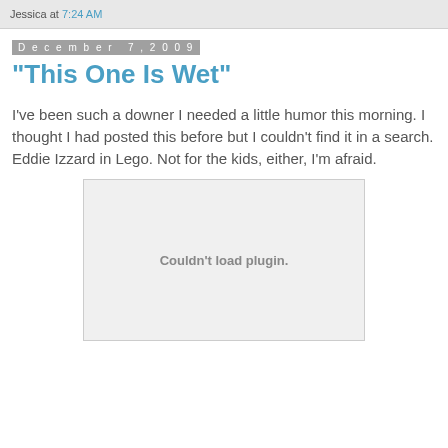Jessica at 7:24 AM
December 7, 2009
"This One Is Wet"
I've been such a downer I needed a little humor this morning. I thought I had posted this before but I couldn't find it in a search. Eddie Izzard in Lego. Not for the kids, either, I'm afraid.
[Figure (other): Embedded video plugin placeholder showing 'Couldn't load plugin.']